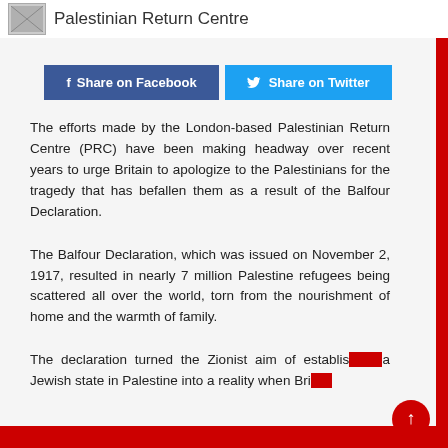Palestinian Return Centre
Share on Facebook  Share on Twitter
The efforts made by the London-based Palestinian Return Centre (PRC) have been making headway over recent years to urge Britain to apologize to the Palestinians for the tragedy that has befallen them as a result of the Balfour Declaration.
The Balfour Declaration, which was issued on November 2, 1917, resulted in nearly 7 million Palestine refugees being scattered all over the world, torn from the nourishment of home and the warmth of family.
The declaration turned the Zionist aim of establishing a Jewish state in Palestine into a reality when Bri...